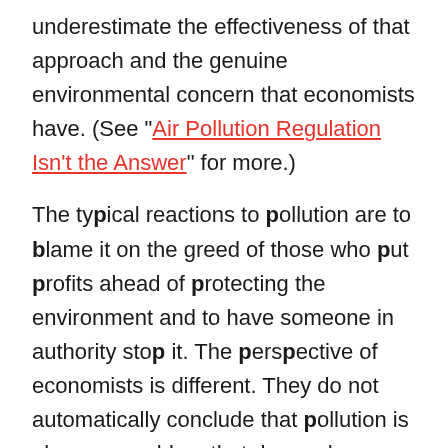underestimate the effectiveness of that approach and the genuine environmental concern that economists have. (See "Air Pollution Regulation Isn't the Answer" for more.)

The typical reactions to pollution are to blame it on the greed of those who put profits ahead of protecting the environment and to have someone in authority stop it. The perspective of economists is different. They do not automatically conclude that pollution is always a problem that demands a solution. When they do conclude that pollution is a problem that should be addressed, they seldom suggest having government demand that the